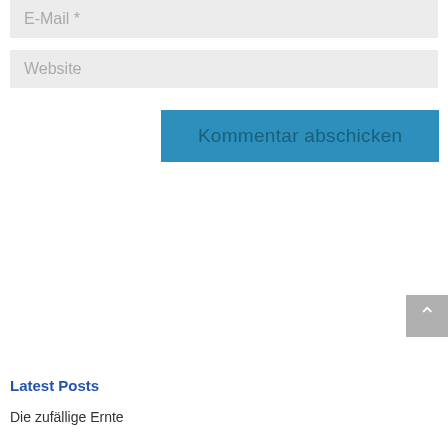E-Mail *
Website
Kommentar abschicken
Latest Posts
Die zufällige Ernte